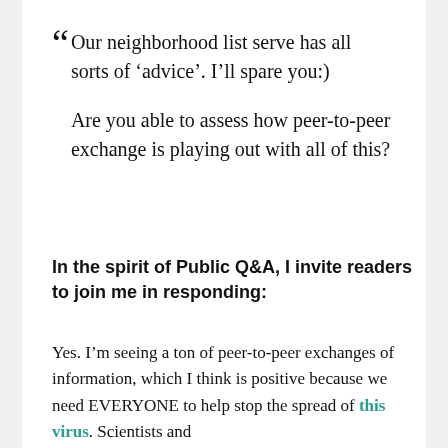“Our neighborhood list serve has all sorts of ‘advice’. I’ll spare you:)

Are you able to assess how peer-to-peer exchange is playing out with all of this?
In the spirit of Public Q&A, I invite readers to join me in responding:
Yes. I’m seeing a ton of peer-to-peer exchanges of information, which I think is positive because we need EVERYONE to help stop the spread of this virus. Scientists and